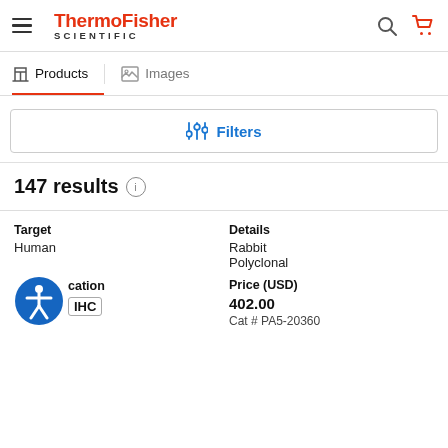[Figure (logo): ThermoFisher Scientific logo in red and dark text]
Products   Images
Filters
147 results
| Target | Details |
| --- | --- |
| Human | Rabbit
Polyclonal |
| Application | Price (USD) |
| --- | --- |
| IHC | 402.00
Cat # PA5-20360 |